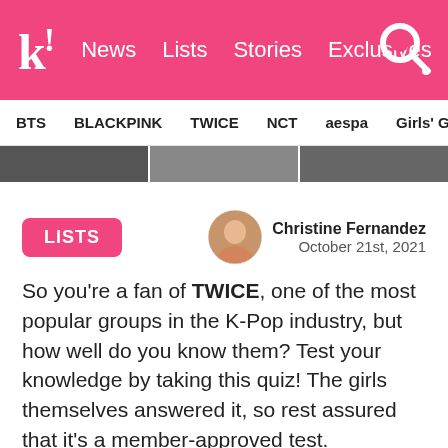k! News Lists Stories Exclusives
BTS BLACKPINK TWICE NCT aespa Girls' Generation
[Figure (photo): Hero image strip showing partial photos]
LISTS
Christine Fernandez
October 21st, 2021
So you're a fan of TWICE, one of the most popular groups in the K-Pop industry, but how well do you know them? Test your knowledge by taking this quiz! The girls themselves answered it, so rest assured that it's a member-approved test.
Keep in mind that for some questions, you will have to refer to the video below.